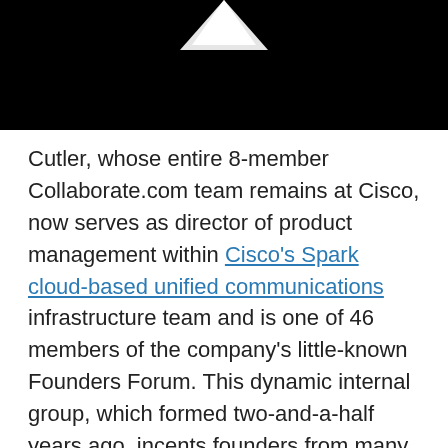[Figure (logo): Partial Cisco logo (white angular shape) on black background at top of page]
Cutler, whose entire 8-member Collaborate.com team remains at Cisco, now serves as director of product management within Cisco's Spark cloud-based unified communications infrastructure team and is one of 46 members of the company's little-known Founders Forum. This dynamic internal group, which formed two-and-a-half years ago, incents founders from many of the 193 companies Cisco has acquired to stick around for the benefit of Cisco, themselves and customers (See also: ).